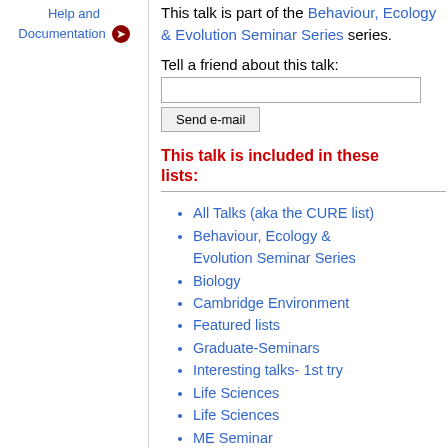Help and Documentation
This talk is part of the Behaviour, Ecology & Evolution Seminar Series series.
Tell a friend about this talk:
This talk is included in these lists:
All Talks (aka the CURE list)
Behaviour, Ecology & Evolution Seminar Series
Biology
Cambridge Environment
Featured lists
Graduate-Seminars
Interesting talks- 1st try
Life Sciences
Life Sciences
ME Seminar
Online (ask organizers for link)
Queens' College Politics Society
Zoology Department